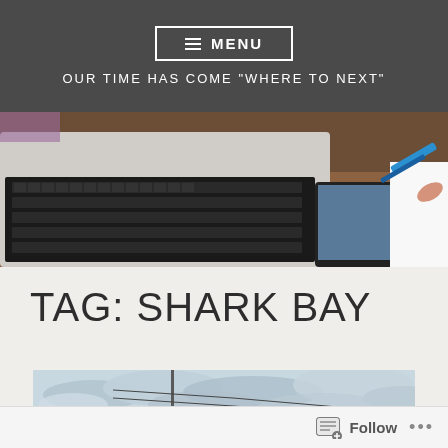≡ MENU
OUR TIME HAS COME "WHERE TO NEXT"
[Figure (photo): Photo of a laptop keyboard on a wooden desk, with a hand writing with a blue marker on a notebook/notepad to the right]
TAG: SHARK BAY
[Figure (photo): Outdoor photo showing a utility pole against a cloudy sky near a body of water (Shark Bay area)]
Follow ...